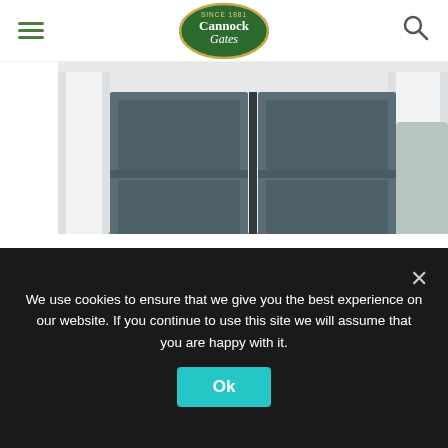Cannock Gates (navigation header with hamburger menu, logo, and search icon)
[Figure (photo): Photo of a dark grey aluminium double gate installed between white pillar posts, photographed in a driveway setting. The Cannock Gates logo (green oval with gold border reading 'Since 1961 Cannock Gates') is overlaid on the upper portion of the image.]
Dorchester Aluminium
We use cookies to ensure that we give you the best experience on our website. If you continue to use this site we will assume that you are happy with it.
Ok